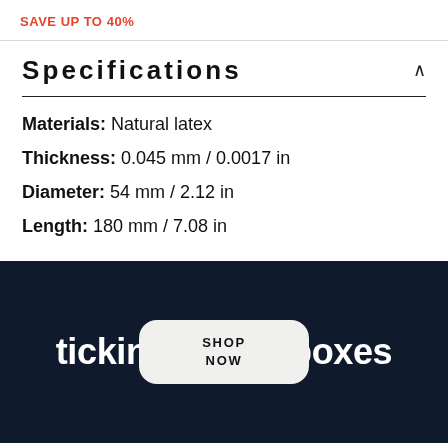SAVE UP TO 40%
Specifications
Materials: Natural latex
Thickness: 0.045 mm / 0.0017 in
Diameter: 54 mm / 2.12 in
Length: 180 mm / 7.08 in
ticking all the boxes
SHOP NOW